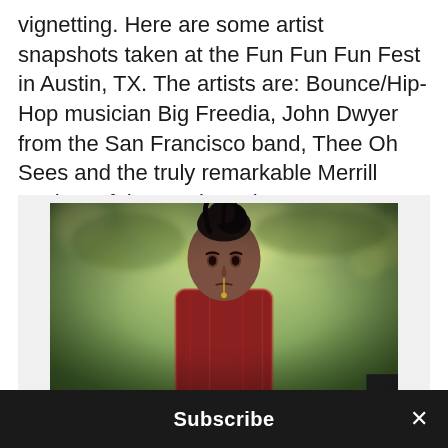vignetting. Here are some artist snapshots taken at the Fun Fun Fun Fest in Austin, TX. The artists are: Bounce/Hip-Hop musician Big Freedia, John Dwyer from the San Francisco band, Thee Oh Sees and the truly remarkable Merrill Garbus of the music project tUnE-yArDs
[Figure (photo): A portrait photo of a person with dark hair styled upward, wearing a patterned garment, standing outdoors with bokeh green tree foliage in the background. The photo has vignetting around the edges.]
Subscribe